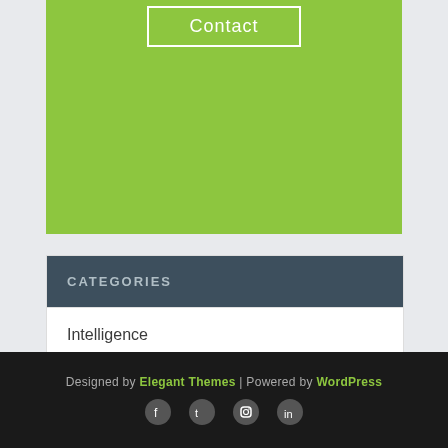[Figure (other): Green banner with Contact button outlined in white]
CATEGORIES
Intelligence
Return of Jesu
The New Day – 5D
Designed by Elegant Themes | Powered by WordPress